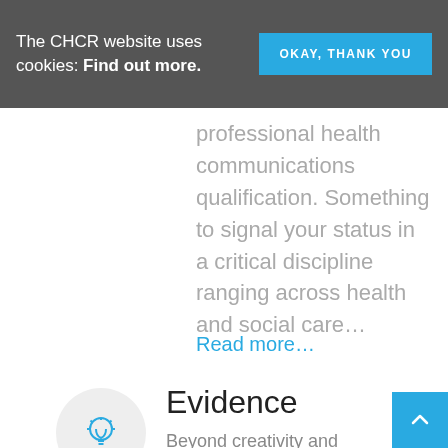The CHCR website uses cookies: Find out more.
OKAY, THANK YOU
professional health communications qualification. Something to signal your status in a critical discipline ranging across health and social care…
Read more…
Evidence
Beyond creativity and